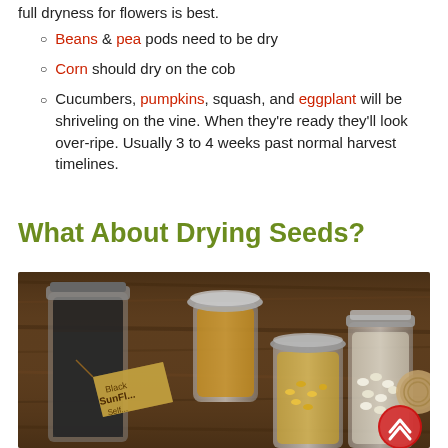full dryness for flowers is best.
Beans & pea pods need to be dry
Corn should dry on the cob
Cucumbers, pumpkins, squash, and eggplant will be shriveling on the vine. When they’re ready they’ll look over-ripe. Usually 3 to 4 weeks past normal harvest timelines.
What About Drying Seeds?
[Figure (photo): Several glass mason jars of varying sizes filled with seeds, sitting on a wooden surface. One jar has a kraft paper tag reading 'Black Sunflower Self...'. A red circular back-to-top button is visible in the bottom right corner.]